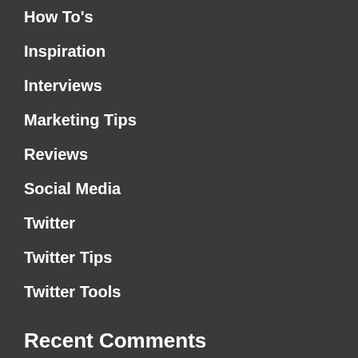How To's
Inspiration
Interviews
Marketing Tips
Reviews
Social Media
Twitter
Twitter Tips
Twitter Tools
Recent Comments